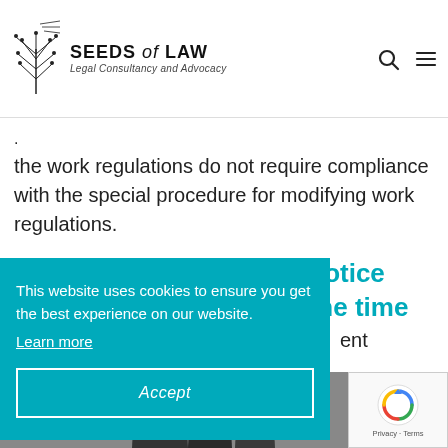SEEDS of LAW — Legal Consultancy and Advocacy
the work regulations do not require compliance with the special procedure for modifying work regulations.
3. A tricky problem: the notice periods agreed upon at the time of
ent
[Figure (other): Cookie consent banner with teal background saying: This website uses cookies to ensure you get the best experience on our website. Learn more. Accept button.]
[Figure (other): reCAPTCHA badge with Google logo, Privacy and Terms links]
[Figure (photo): Silhouetted figures of people in a meeting or professional setting]